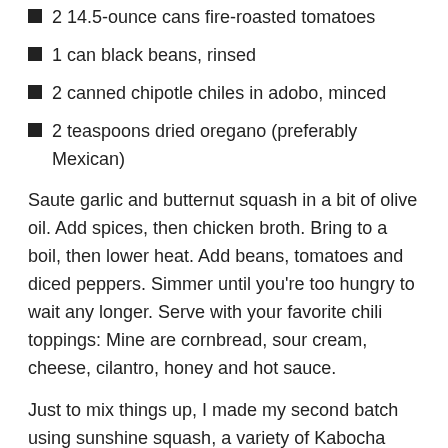2 14.5-ounce cans fire-roasted tomatoes
1 can black beans, rinsed
2 canned chipotle chiles in adobo, minced
2 teaspoons dried oregano (preferably Mexican)
Saute garlic and butternut squash in a bit of olive oil. Add spices, then chicken broth. Bring to a boil, then lower heat. Add beans, tomatoes and diced peppers. Simmer until you're too hungry to wait any longer. Serve with your favorite chili toppings: Mine are cornbread, sour cream, cheese, cilantro, honey and hot sauce.
Just to mix things up, I made my second batch using sunshine squash, a variety of Kabocha squash found at the Takoma Park Farmers Market last week. It's part of my long-forgotten goal to try one new in-season vegetable per week. The only problem with the switch: The two